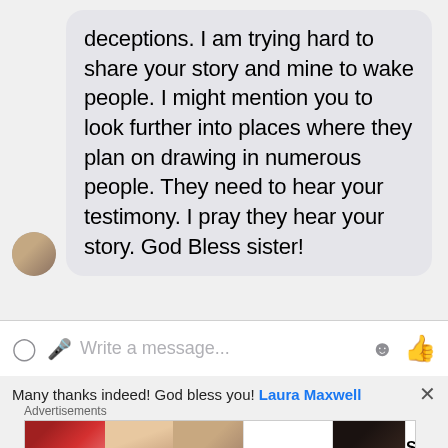[Figure (screenshot): Facebook Messenger chat screenshot showing a received message bubble with avatar and text: 'deceptions. I am trying hard to share your story and mine to wake people. I might mention you to look further into places where they plan on drawing in numerous people. They need to hear your testimony. I pray they hear your story. God Bless sister!']
deceptions. I am trying hard to share your story and mine to wake people. I might mention you to look further into places where they plan on drawing in numerous people. They need to hear your testimony. I pray they hear your story. God Bless sister!
Write a message...
Many thanks indeed! God bless you! Laura Maxwell
Advertisements
[Figure (screenshot): ULTA Beauty advertisement banner showing makeup imagery - lips with lipstick, makeup brush, eye with makeup, ULTA logo, eye makeup, and SHOP NOW text]